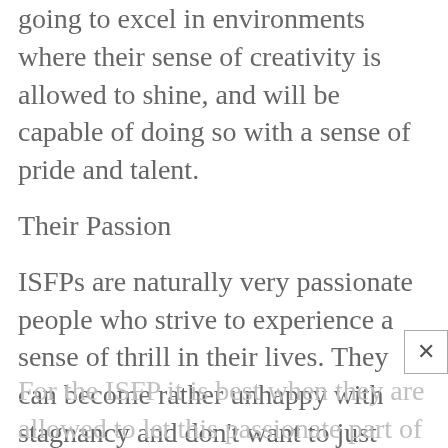going to excel in environments where their sense of creativity is allowed to shine, and will be capable of doing so with a sense of pride and talent.
Their Passion
ISFPs are naturally very passionate people who strive to experience a sense of thrill in their lives. They can become rather unhappy with stagnancy and don’t want to just settle for complacency. Instead ISFPs want to go where they are most inspired and want to truly experience a sense of excitement in their lives.
For the ISFP it is best when they are allowed to let this passionate part of